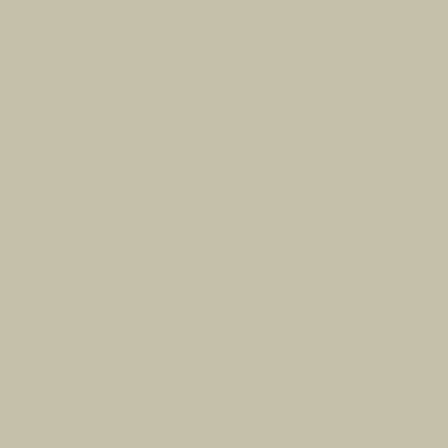[Figure (photo): Close-up of sailing boat rigging, ropes and metal fittings against a grey/white sky]
Blazing throug
[Figure (photo): Auckland city waterfront with modern buildings, marina and harbour in bright sunshine with blue sky and white clouds]